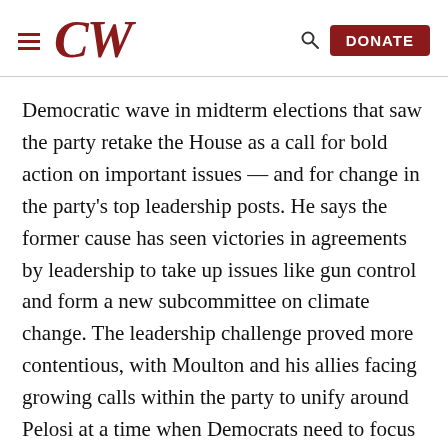CW — DONATE
Democratic wave in midterm elections that saw the party retake the House as a call for bold action on important issues — and for change in the party's top leadership posts. He says the former cause has seen victories in agreements by leadership to take up issues like gun control and form a new subcommittee on climate change. The leadership challenge proved more contentious, with Moulton and his allies facing growing calls within the party to unify around Pelosi at a time when Democrats need to focus on using their new clout against President Trump.